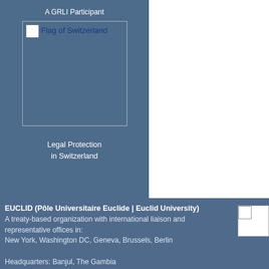A GRLI Participant
[Figure (illustration): Flag of Switzerland image placeholder with alt text 'Flag of Switzerland']
Legal Protection
in Switzerland
EUCLID (Pôle Universitaire Euclide | Euclid University)
A treaty-based organization with international liaison and representative offices in:
New York, Washington DC, Geneva, Brussels, Berlin

Headquarters: Banjul, The Gambia
Historic Headquarters and Official CB/IRD Office: Bangui, C.A.R.
[Figure (illustration): Small image placeholder in bottom right corner]